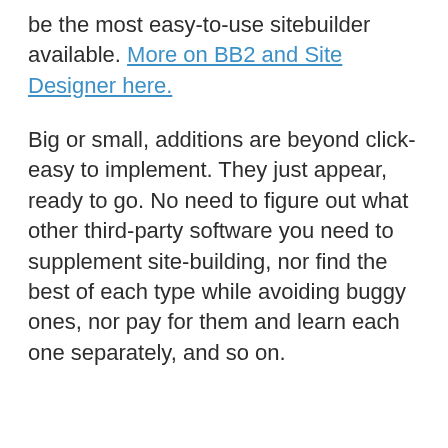be the most easy-to-use sitebuilder available. More on BB2 and Site Designer here.
Big or small, additions are beyond click-easy to implement. They just appear, ready to go. No need to figure out what other third-party software you need to supplement site-building, nor find the best of each type while avoiding buggy ones, nor pay for them and learn each one separately, and so on.